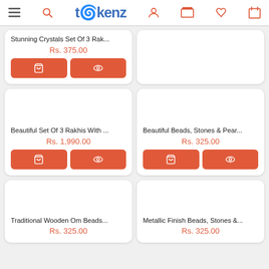tokenz - navigation header with hamburger, search, logo, user, bag, heart, cart icons
Stunning Crystals Set Of 3 Rak...
Rs. 375.00
Beautiful Set Of 3 Rakhis With ...
Rs. 1,990.00
Beautiful Beads, Stones & Pear...
Rs. 325.00
Traditional Wooden Om Beads...
Rs. 325.00
Metallic Finish Beads, Stones &...
Rs. 325.00